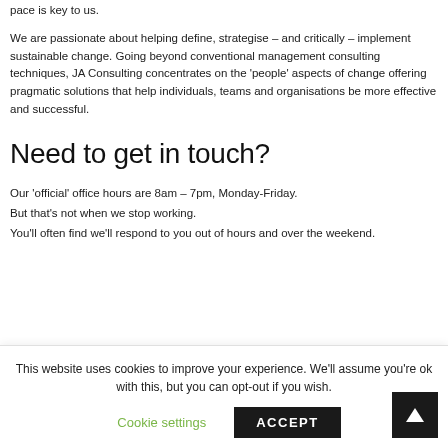pace is key to us.
We are passionate about helping define, strategise – and critically – implement sustainable change. Going beyond conventional management consulting techniques, JA Consulting concentrates on the 'people' aspects of change offering pragmatic solutions that help individuals, teams and organisations be more effective and successful.
Need to get in touch?
Our 'official' office hours are 8am – 7pm, Monday-Friday.
But that's not when we stop working.
You'll often find we'll respond to you out of hours and over the weekend.
This website uses cookies to improve your experience. We'll assume you're ok with this, but you can opt-out if you wish.
Cookie settings
ACCEPT